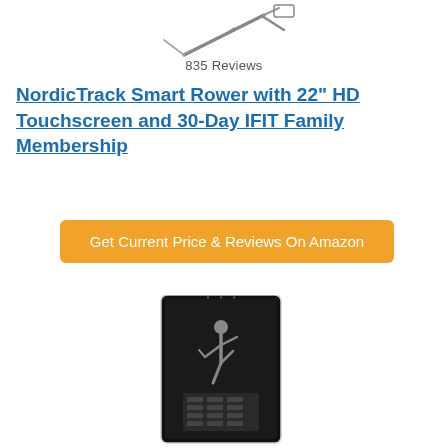[Figure (photo): Partial image of a NordicTrack Smart Rower machine, showing the upper part of the device cut off at the top of the page]
835 Reviews
NordicTrack Smart Rower with 22" HD Touchscreen and 30-Day IFIT Family Membership
[Figure (other): Orange button labeled 'Get Current Price & Reviews On Amazon']
[Figure (photo): NordicTrack fitness mirror/screen device showing a yoga figure on screen with a dark rectangular frame, partially visible at the bottom of the page]